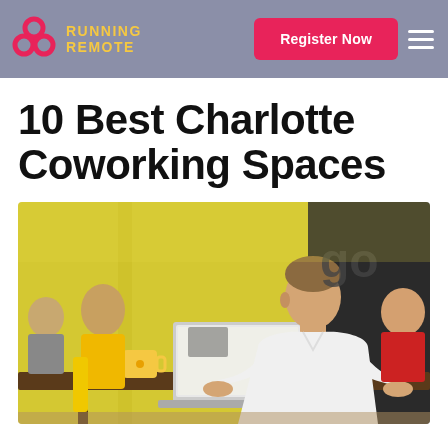Running Remote | Register Now
10 Best Charlotte Coworking Spaces
[Figure (photo): People working in a bright yellow coworking space. In the foreground, a man in a white shirt works on a laptop at a wooden table with a yellow coffee mug. In the background, other workers are seated at tables with yellow chairs and yellow walls. A partial 'go' logo is visible on the right side.]